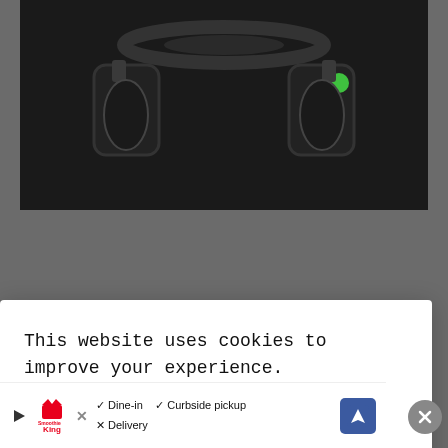[Figure (photo): Dark background product photo of a Razer gaming headset (black with green accent), showing the headband and ear cups from an angled perspective.]
headphones to accomplish.
Overall, the Razer Nari is the best headset I've ever used and it's going to take a lot for so
This website uses cookies to improve your experience.

We'll assume you're ok with this, but you can opt-out if you wish. Accept  Reject  Read More
[Figure (screenshot): Bottom advertisement bar showing Smoothie King logo with dine-in, curbside pickup, and delivery options, a navigation icon, and a close X button.]